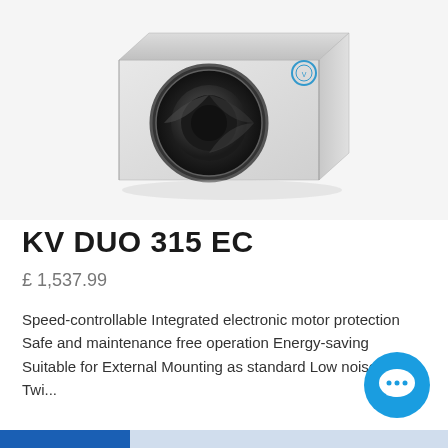[Figure (photo): Product photo of KV DUO 315 EC ventilation unit — a silver/white rectangular box with a large circular black duct opening on the front face, photographed at an angle on a white background.]
KV DUO 315 EC
£ 1,537.99
Speed-controllable Integrated electronic motor protection Safe and maintenance free operation Energy-saving Suitable for External Mounting as standard Low noise level Twi...